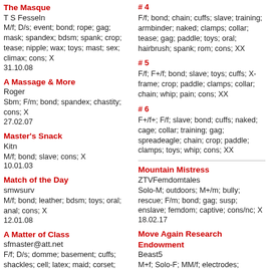The Masque
T S Fesseln
M/f; D/s; event; bond; rope; gag; mask; spandex; bdsm; spank; crop; tease; nipple; wax; toys; mast; sex; climax; cons; X
31.10.08
A Massage & More
Roger
Sbm; F/m; bond; spandex; chastity; cons; X
27.02.07
Master's Snack
Kitn
M/f; bond; slave; cons; X
10.01.03
Match of the Day
smwsurv
M/f; bond; leather; bdsm; toys; oral; anal; cons; X
12.01.08
A Matter of Class
sfmaster@att.net
F/f; D/s; domme; basement; cuffs; shackles; cell; latex; maid; corset; collar; restraints; punish; bdsm; spank; paddle; toys; insert; denial; cons; X
24.08.19
# 4
F/f; bond; chain; cuffs; slave; training; armbinder; naked; clamps; collar; tease; gag; paddle; toys; oral; hairbrush; spank; rom; cons; XX
# 5
F/f; F+/f; bond; slave; toys; cuffs; X-frame; crop; paddle; clamps; collar; chain; whip; pain; cons; XX
# 6
F+/f+; F/f; slave; bond; cuffs; naked; cage; collar; training; gag; spreadeagle; chain; crop; paddle; clamps; toys; whip; cons; XX
Mountain Mistress
ZTVFemdomtales
Solo-M; outdoors; M+/m; bully; rescue; F/m; bond; gag; susp; enslave; femdom; captive; cons/nc; X
18.02.17
Move Again Research Endowment
Beast5
M+f; Solo-F; MM/f; electrodes; program; experiment; bodycontrol; caught; tease; torment; oral; mast; climax; cons/reluct; X
23.01.12
Moving Stuff